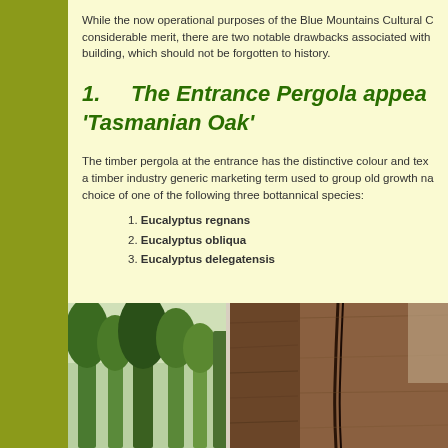While the now operational purposes of the Blue Mountains Cultural C... considerable merit, there are two notable drawbacks associated with... building, which should not be forgotten to history.
1.    The Entrance Pergola appea... 'Tasmanian Oak'
The timber pergola at the entrance has the distinctive colour and tex... a timber industry generic marketing term used to group old growth na... choice of one of the following three bottannical species:
Eucalyptus regnans
Eucalyptus obliqua
Eucalyptus delegatensis
[Figure (photo): Two-panel photograph: left panel shows green conifer trees, right panel shows close-up of dark brown timber wood grain with vertical crack/split]